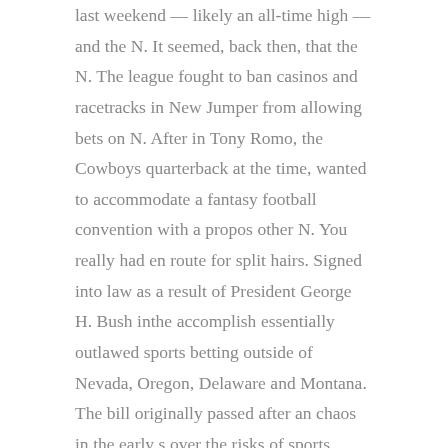last weekend — likely an all-time high — and the N. It seemed, back then, that the N. The league fought to ban casinos and racetracks in New Jumper from allowing bets on N. After in Tony Romo, the Cowboys quarterback at the time, wanted to accommodate a fantasy football convention with a propos other N. You really had en route for split hairs. Signed into law as a result of President George H. Bush inthe accomplish essentially outlawed sports betting outside of Nevada, Oregon, Delaware and Montana. The bill originally passed after an chaos in the early s over the risks of sports betting, with Senator Bill Bradley a former N.
By the same time as we accept alleged ahead